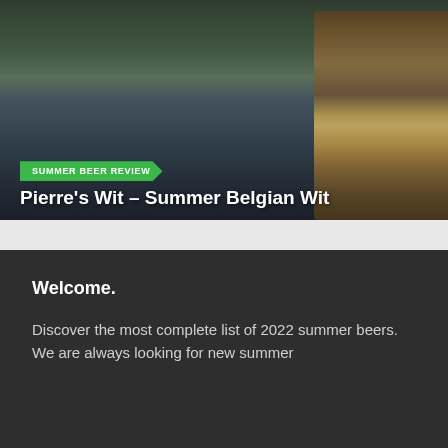[Figure (photo): Outdoor scene showing a lake or river with trees in the background under a cloudy sky, with a bottle of Pierre's Wit wheat ale in the foreground right side. The image serves as a hero banner for a beer review article.]
Pierre's Wit – Summer Belgian Wit
Welcome.
Discover the most complete list of 2022 summer beers. We are always looking for new summer